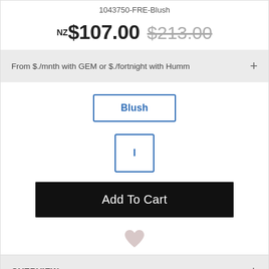1043750-FRE-Blush
NZ$107.00 $213.00
From $./mnth with GEM or $./fortnight with Humm
Blush
I
Add To Cart
OVERVIEW
DETAILS
SIZE CHART